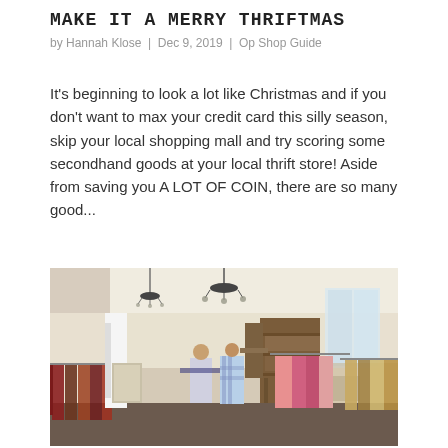MAKE IT A MERRY THRIFTMAS
by Hannah Klose | Dec 9, 2019 | Op Shop Guide
It's beginning to look a lot like Christmas and if you don't want to max your credit card this silly season, skip your local shopping mall and try scoring some secondhand goods at your local thrift store! Aside from saving you A LOT OF COIN, there are so many good...
[Figure (photo): Interior of a thrift store showing racks of clothes on the left and right, antique furniture and shelving in the background, chandelier hanging from the ceiling, shoppers browsing the store.]